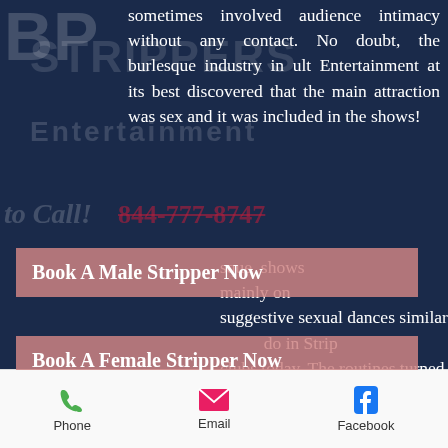sometimes involved audience intimacy without any contact. No doubt, the burlesque industry in ult Entertainment at its best discovered that the main attraction was sex and it was included in the shows! Burlesque shows mainly on suggestive sexual dances similar to do in Strip clubs today. The routines turned very raunchy and girls became more uninhibited, the acts became more risqué. Of course, in the day and time we are living in, thankfully the strippers and the strip clubs have become so
[Figure (illustration): Pink/salmon colored banner button: Book A Male Stripper Now]
[Figure (illustration): Pink/salmon colored banner button: Book A Female Stripper Now]
Phone   Email   Facebook